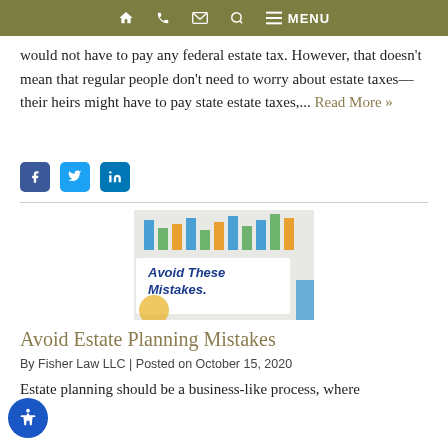Navigation bar with home, phone, email, search, and MENU icons
would not have to pay any federal estate tax. However, that doesn't mean that regular people don't need to worry about estate taxes—their heirs might have to pay state estate taxes,... Read More »
[Figure (other): Social media share icons: Facebook, Twitter, LinkedIn]
[Figure (photo): Photo showing a notepad with bar charts and handwritten text reading 'AVOID THESE MISTAKES.']
Avoid Estate Planning Mistakes
By Fisher Law LLC | Posted on October 15, 2020
Estate planning should be a business-like process, where